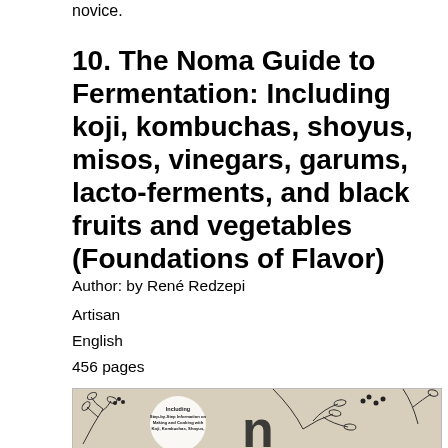novice.
10. The Noma Guide to Fermentation: Including koji, kombuchas, shoyus, misos, vinegars, garums, lacto-ferments, and black fruits and vegetables (Foundations of Flavor)
Author: by René Redzepi
Artisan
English
456 pages
[Figure (photo): Book cover of The Noma Guide to Fermentation showing botanical line illustrations with leaves and berries on a textured background, with subtitle text visible.]